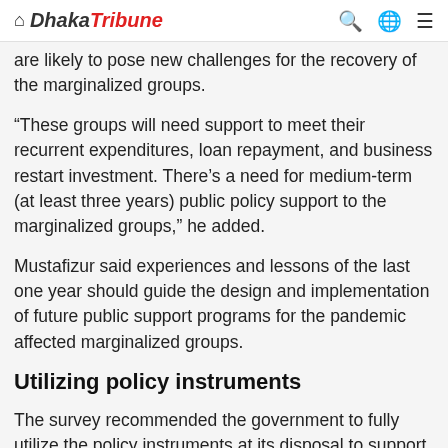Dhaka Tribune
are likely to pose new challenges for the recovery of the marginalized groups.
“These groups will need support to meet their recurrent expenditures, loan repayment, and business restart investment. There’s a need for medium-term (at least three years) public policy support to the marginalized groups,” he added.
Mustafizur said experiences and lessons of the last one year should guide the design and implementation of future public support programs for the pandemic affected marginalized groups.
Utilizing policy instruments
The survey recommended the government to fully utilize the policy instruments at its disposal to support the distressed marginalized groups through cash transfer, food assistance, credit with easy terms, and targeted public works programs, among others.
The survey also recommended that...